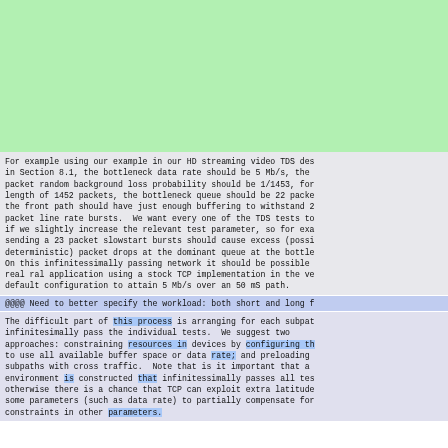[Figure (other): Light green background block occupying the top portion of the page]
For example using our example in our HD streaming video TDS des in Section 8.1, the bottleneck data rate should be 5 Mb/s, the packet random background loss probability should be 1/1453, for length of 1452 packets, the bottleneck queue should be 22 packe the front path should have just enough buffering to withstand 2 packet line rate bursts.  We want every one of the TDS tests to if we slightly increase the relevant test parameter, so for exa sending a 23 packet slowstart bursts should cause excess (possi deterministic) packet drops at the dominant queue at the bottle On this infinitessimally passing network it should be possible real ral application using a stock TCP implementation in the ve default configuration to attain 5 Mb/s over an 50 mS path.
@@@@ Need to better specify the workload: both short and long f
The difficult part of this process is arranging for each subpat infinitesimally pass the individual tests.  We suggest two approaches: constraining resources in devices by configuring th to use all available buffer space or data rate; and preloading subpaths with cross traffic.  Note that is it important that a environment is constructed that infinitessimally passes all tes otherwise there is a chance that TCP can exploit extra latitude some parameters (such as data rate) to partially compensate for constraints in other parameters.